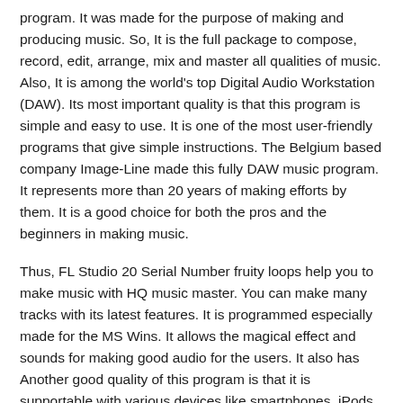program. It was made for the purpose of making and producing music. So, It is the full package to compose, record, edit, arrange, mix and master all qualities of music. Also, It is among the world's top Digital Audio Workstation (DAW). Its most important quality is that this program is simple and easy to use. It is one of the most user-friendly programs that give simple instructions. The Belgium based company Image-Line made this fully DAW music program. It represents more than 20 years of making efforts by them. It is a good choice for both the pros and the beginners in making music.
Thus, FL Studio 20 Serial Number fruity loops help you to make music with HQ music master. You can make many tracks with its latest features. It is programmed especially made for the MS Wins. It allows the magical effect and sounds for making good audio for the users. It also has Another good quality of this program is that it is supportable with various devices like smartphones, iPods, iPhones and many more like these. It is usually cheap as it gives the users the way to using this program for a longer period of time without paying. all